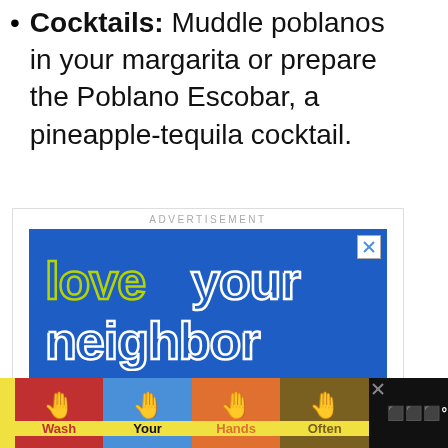Cocktails: Muddle poblanos in your margarita or prepare the Poblano Escobar, a pineapple-tequila cocktail.
[Figure (screenshot): Advertisement banner with blue background showing 'love your neighbor' text in retro font style with tagline 'be kind, be smart, be safe; stay home']
[Figure (screenshot): Bottom advertisement bar showing handwashing campaign: Wash Your Hands Often, with colorful hand icons on dark background]